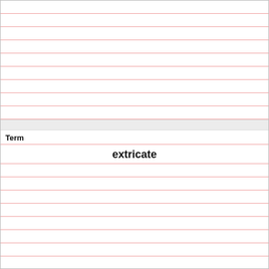Term
extricate
Definition
(v) to remove from an entanglement